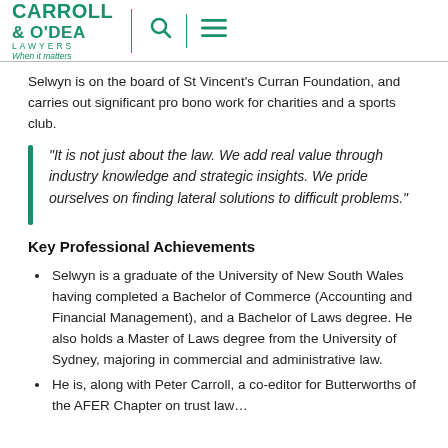Carroll & O'Dea Lawyers – When it matters
Selwyn is on the board of St Vincent's Curran Foundation, and carries out significant pro bono work for charities and a sports club.
“It is not just about the law. We add real value through industry knowledge and strategic insights. We pride ourselves on finding lateral solutions to difficult problems.”
Key Professional Achievements
Selwyn is a graduate of the University of New South Wales having completed a Bachelor of Commerce (Accounting and Financial Management), and a Bachelor of Laws degree. He also holds a Master of Laws degree from the University of Sydney, majoring in commercial and administrative law.
He is, along with Peter Carroll, a co-editor for Butterworths of the AFER Chapter on trust law…